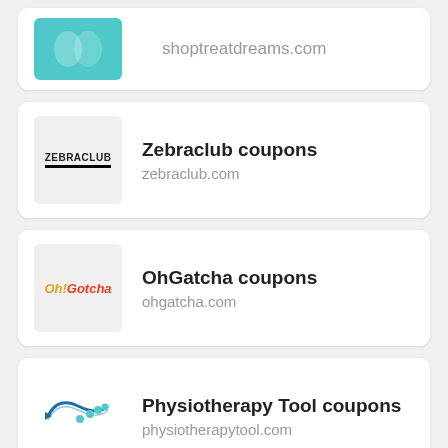[Figure (logo): shoptreatdreams.com teal logo, partially visible at top]
shoptreatdreams.com
[Figure (logo): Zebraclub logo with text ZEBRACLUB]
Zebraclub coupons
zebraclub.com
[Figure (logo): OhGatcha stylized colorful logo]
OhGatcha coupons
ohgatcha.com
[Figure (logo): Physiotherapy Tool logo with fish/wave and dots]
Physiotherapy Tool coupons
physiotherapytool.com
[Figure (logo): Bestowed Essentials logo, partially visible]
Bestowed Essentials coupons